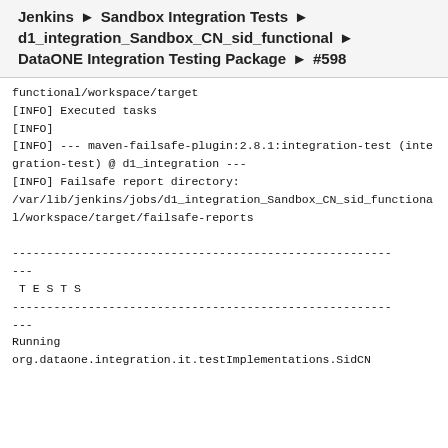Jenkins › Sandbox Integration Tests ›
d1_integration_Sandbox_CN_sid_functional ›
DataONE Integration Testing Package › #598
functional/workspace/target
[INFO] Executed tasks
[INFO]
[INFO] --- maven-failsafe-plugin:2.8.1:integration-test (integration-test) @ d1_integration ---
[INFO] Failsafe report directory:
/var/lib/jenkins/jobs/d1_integration_Sandbox_CN_sid_functional/workspace/target/failsafe-reports

-------------------------------------------------------
---
 T E S T S
-------------------------------------------------------
---
Running
org.dataone.integration.it.testImplementations.SidCN